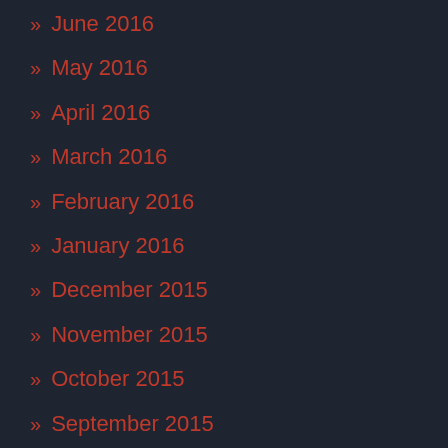» June 2016
» May 2016
» April 2016
» March 2016
» February 2016
» January 2016
» December 2015
» November 2015
» October 2015
» September 2015
» August 2015
» July 2015
» June 2015
» May 2015
» April 2015